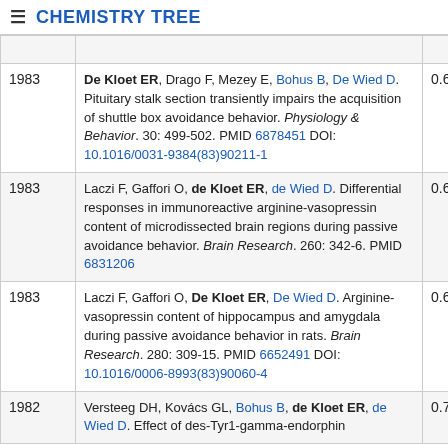≡ CHEMISTRY TREE
| Year | Reference | Score |
| --- | --- | --- |
|  | [truncated link] |  |
| 1983 | De Kloet ER, Drago F, Mezey E, Bohus B, De Wied D. Pituitary stalk section transiently impairs the acquisition of shuttle box avoidance behavior. Physiology & Behavior. 30: 499-502. PMID 6878451 DOI: 10.1016/0031-9384(83)90211-1 | 0.687 |
| 1983 | Laczi F, Gaffori O, de Kloet ER, de Wied D. Differential responses in immunoreactive arginine-vasopressin content of microdissected brain regions during passive avoidance behavior. Brain Research. 260: 342-6. PMID 6831206 | 0.61 |
| 1983 | Laczi F, Gaffori O, De Kloet ER, De Wied D. Arginine-vasopressin content of hippocampus and amygdala during passive avoidance behavior in rats. Brain Research. 280: 309-15. PMID 6652491 DOI: 10.1016/0006-8993(83)90060-4 | 0.606 |
| 1982 | Versteeg DH, Kovács GL, Bohus B, de Kloet ER, de Wied D. Effect of des-Tyr1-gamma-endorphin... | 0.703 |